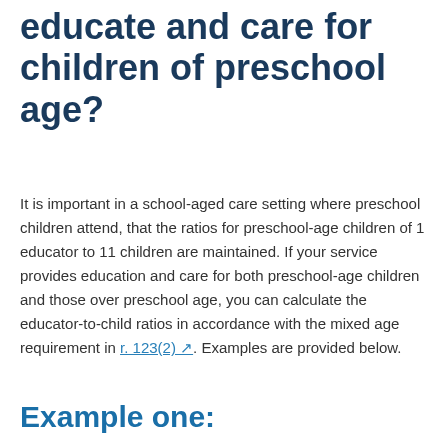educate and care for children of preschool age?
It is important in a school-aged care setting where preschool children attend, that the ratios for preschool-age children of 1 educator to 11 children are maintained. If your service provides education and care for both preschool-age children and those over preschool age, you can calculate the educator-to-child ratios in accordance with the mixed age requirement in r. 123(2). Examples are provided below.
Example one: